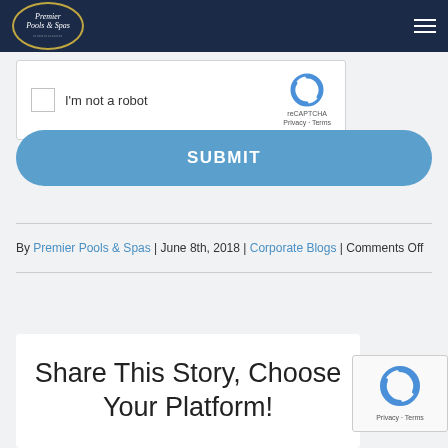Premier Pools & Spas
[Figure (screenshot): reCAPTCHA widget showing checkbox with 'I'm not a robot' text and reCAPTCHA logo with Privacy and Terms links]
SUBMIT
By Premier Pools & Spas | June 8th, 2018 | Corporate Blogs | Comments Off
Share This Story, Choose Your Platform!